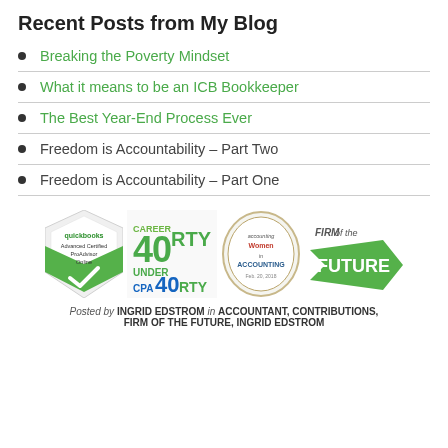Recent Posts from My Blog
Breaking the Poverty Mindset
What it means to be an ICB Bookkeeper
The Best Year-End Process Ever
Freedom is Accountability – Part Two
Freedom is Accountability – Part One
[Figure (logo): Four certification/award badges: QuickBooks Advanced Certified ProAdvisor Online, CPA 40 Under 40rty, Women in Accounting recognition badge, Firm of the Future arrow logo]
Posted by INGRID EDSTROM in ACCOUNTANT, CONTRIBUTIONS, FIRM OF THE FUTURE, INGRID EDSTROM